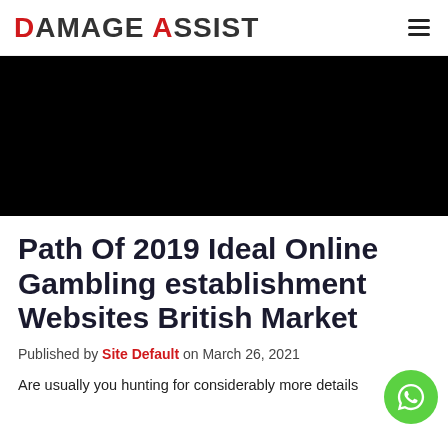DAMAGE ASSIST
[Figure (photo): Black hero/banner image area]
Path Of 2019 Ideal Online Gambling establishment Websites British Market
Published by Site Default on March 26, 2021
Are usually you hunting for considerably more details regarding the Betting Enterprise home Performing Online Casinos